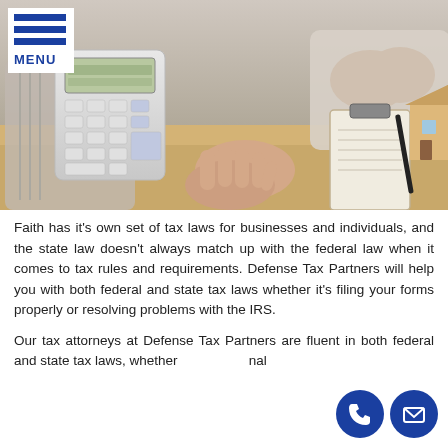[Figure (photo): Two people at a desk with a calculator, clipboard with pen, and a small wooden house model — a financial or tax consultation scene.]
MENU
Faith has it's own set of tax laws for businesses and individuals, and the state law doesn't always match up with the federal law when it comes to tax rules and requirements. Defense Tax Partners will help you with both federal and state tax laws whether it's filing your forms properly or resolving problems with the IRS.
Our tax attorneys at Defense Tax Partners are fluent in both federal and state tax laws, whether personal income tax or business tax, from problems to...